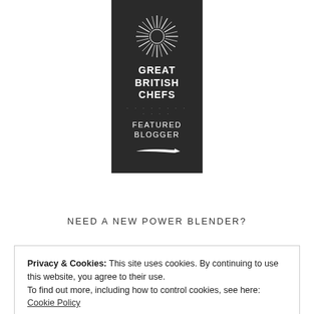[Figure (logo): Great British Chefs Featured Blogger badge — dark background with sunburst/firework logo, text GREAT BRITISH CHEFS with dotted divider, FEATURED BLOGGER, and a chef knife icon]
NEED A NEW POWER BLENDER?
Privacy & Cookies: This site uses cookies. By continuing to use this website, you agree to their use.
To find out more, including how to control cookies, see here:
Cookie Policy
Close and accept